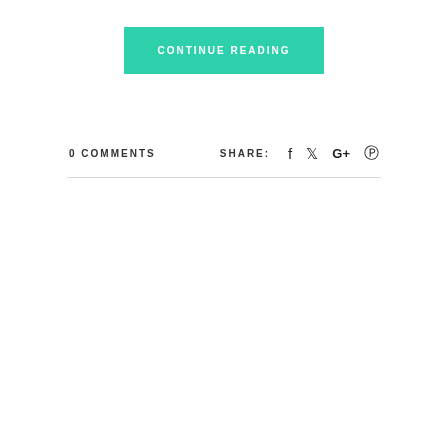CONTINUE READING
0 COMMENTS
SHARE: